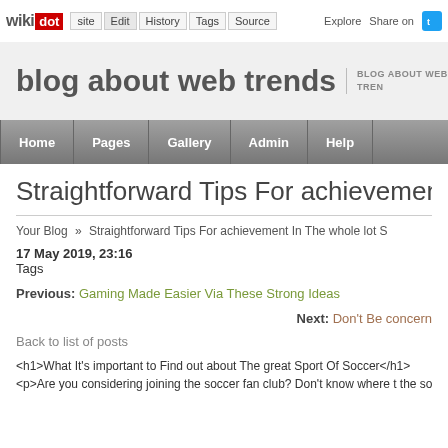wikidot | site | Edit | History | Tags | Source | Explore | Share on [Twitter]
blog about web trends | BLOG ABOUT WEB TRENDS
Home | Pages | Gallery | Admin | Help
Straightforward Tips For achievement In
Your Blog » Straightforward Tips For achievement In The whole lot S
17 May 2019, 23:16
Tags
Previous: Gaming Made Easier Via These Strong Ideas
Next: Don't Be concern
Back to list of posts
<h1>What It's important to Find out about The great Sport Of Soccer</h1>
<p>Are you considering joining the soccer fan club? Don't know where t the soccer club? Well, don't! All the things you'll want to Find out about S